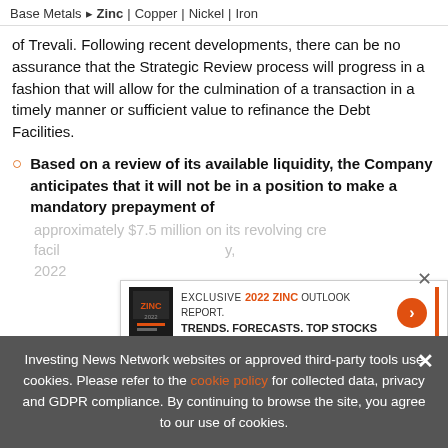Base Metals > Zinc | Copper | Nickel | Iron
of Trevali. Following recent developments, there can be no assurance that the Strategic Review process will progress in a fashion that will allow for the culmination of a transaction in a timely manner or sufficient value to refinance the Debt Facilities.
Based on a review of its available liquidity, the Company anticipates that it will not be in a position to make a mandatory prepayment of approximately $7.5 million on its revolving credit facility ... 2022
[Figure (infographic): Advertisement banner: EXCLUSIVE 2022 ZINC OUTLOOK REPORT. TRENDS. FORECASTS. TOP STOCKS. with an orange arrow button and orange vertical bar.]
Investing News Network websites or approved third-party tools use cookies. Please refer to the cookie policy for collected data, privacy and GDPR compliance. By continuing to browse the site, you agree to our use of cookies.